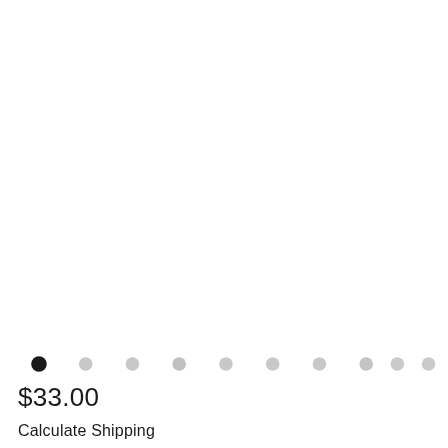[Figure (other): Image carousel dot navigation indicator with 10 dots; first dot is black/filled, remaining 9 dots are light gray]
$33.00
Calculate Shipping